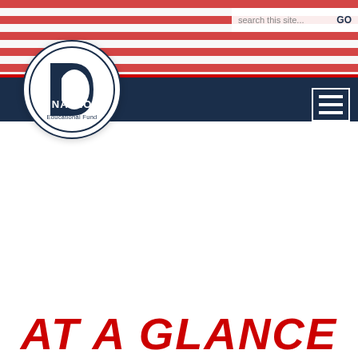[Figure (screenshot): NALEO Educational Fund website header with logo, search bar, navigation bar, and 'AT A GLANCE' title text beginning to appear at bottom]
search this site...  GO
[Figure (logo): NALEO Educational Fund circular logo with blue text and white circle design]
AT A GLANCE